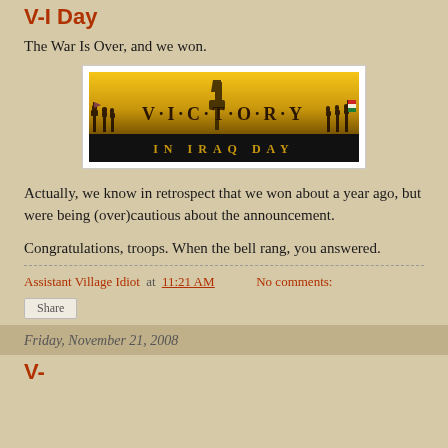V-I Day
The War Is Over, and we won.
[Figure (illustration): Victory in Iraq Day banner with gold background, silhouettes of soldiers, and decorative V·I·C·T·O·R·Y lettering with IN IRAQ DAY text below]
Actually, we know in retrospect that we won about a year ago, but were being (over)cautious about the announcement.
Congratulations, troops. When the bell rang, you answered.
Assistant Village Idiot at 11:21 AM    No comments:
Share
Friday, November 21, 2008